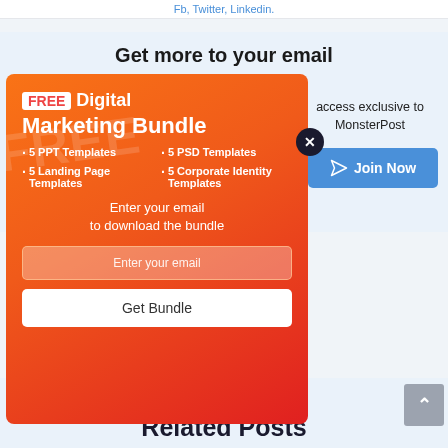Fb, Twitter, Linkedin.
Get more to your email
access exclusive to MonsterPost
[Figure (infographic): Orange-to-red gradient popup modal for FREE Digital Marketing Bundle. Contains title with FREE badge, bullet list of 5 PPT Templates, 5 Landing Page Templates, 5 PSD Templates, 5 Corporate Identity Templates, email input field, and Get Bundle button. Close X button overlaid top-right of modal.]
FREE Digital Marketing Bundle
5 PPT Templates
5 Landing Page Templates
5 PSD Templates
5 Corporate Identity Templates
Enter your email to download the bundle
Enter your email
Get Bundle
Join Now
Related Posts